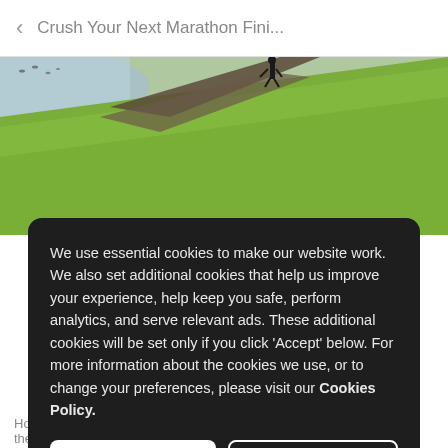Crush Your Next Marathon Fini...
[Figure (photo): Outdoor photo of a running path along a grassy hillside near water, with a person running in the distance. The path curves through bright green grass under natural daylight.]
We use essential cookies to make our website work. We also set additional cookies that help us improve your experience, help keep you safe, perform analytics, and serve relevant ads. These additional cookies will be set only if you click 'Accept' below. For more information about the cookies we use, or to change your preferences, please visit our Cookies Policy.
I accept
Reject
However conveniently, the content is shown below in
the alternative box... You can click the list...